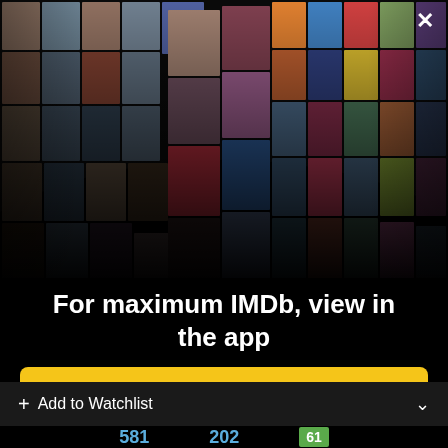[Figure (photo): Collage of movie posters and celebrity headshots arranged in a perspective grid on a black background, forming an IMDb promotional banner]
For maximum IMDb, view in the app
Get the app
+ Add to Watchlist
581  202  61